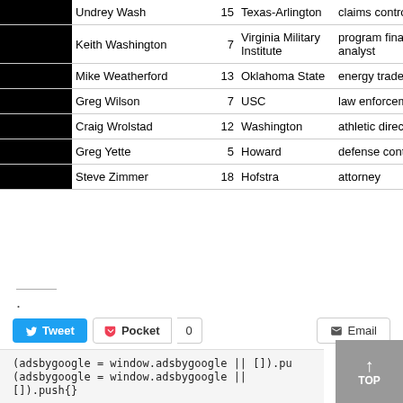| Pos | # | Name | Yrs | School | Occupation |
| --- | --- | --- | --- | --- | --- |
| U | 96 | Undrey Wash | 15 | Texas-Arlington | claims controller |
| SJ | 7 | Keith Washington | 7 | Virginia Military Institute | program financial analyst |
| SJ | 116 | Mike Weatherford | 13 | Oklahoma State | energy trader |
| BJ | 119 | Greg Wilson | 7 | USC | law enforcement |
| R | 4 | Craig Wrolstad | 12 | Washington | athletic director |
| BJ | 38 | Greg Yette | 5 | Howard | defense contractor |
| FJ | 33 | Steve Zimmer | 18 | Hofstra | attorney |
.
Tweet  Pocket  0  Email
More
(adsbygoogle = window.adsbygoogle || []).pu
(adsbygoogle = window.adsbygoogle || []).push{}